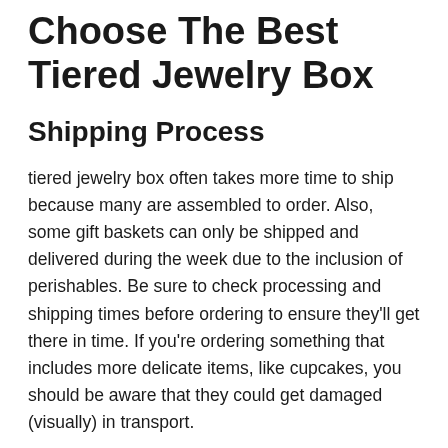Choose The Best Tiered Jewelry Box
Shipping Process
tiered jewelry box often takes more time to ship because many are assembled to order. Also, some gift baskets can only be shipped and delivered during the week due to the inclusion of perishables. Be sure to check processing and shipping times before ordering to ensure they'll get there in time. If you're ordering something that includes more delicate items, like cupcakes, you should be aware that they could get damaged (visually) in transport.